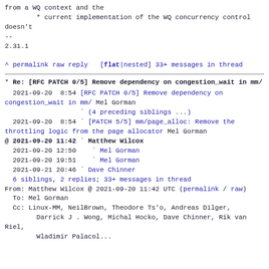from a WQ context and the
        * current implementation of the WQ concurrency control doesn't
--
2.31.1
^ permalink raw reply   [flat|nested] 33+ messages in thread
* Re: [RFC PATCH 0/5] Remove dependency on congestion_wait in mm/
2021-09-20  8:54 [RFC PATCH 0/5] Remove dependency on congestion_wait in mm/ Mel Gorman
                   ` (4 preceding siblings ...)
  2021-09-20  8:54 ` [PATCH 5/5] mm/page_alloc: Remove the throttling logic from the page allocator Mel Gorman
@ 2021-09-20 11:42 ` Matthew Wilcox
  2021-09-20 12:50   ` Mel Gorman
  2021-09-20 19:51   ` Mel Gorman
  2021-09-21 20:46 ` Dave Chinner
  6 siblings, 2 replies; 33+ messages in thread
From: Matthew Wilcox @ 2021-09-20 11:42 UTC (permalink / raw)
  To: Mel Gorman
  Cc: Linux-MM, NeilBrown, Theodore Ts'o, Andreas Dilger,
        Darrick J . Wong, Michal Hocko, Dave Chinner, Rik van Riel,
        Wladimir Palacol...